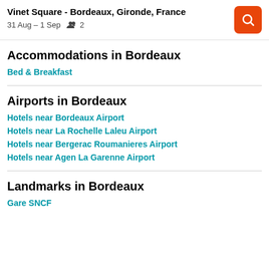Vinet Square - Bordeaux, Gironde, France
31 Aug – 1 Sep  2
Accommodations in Bordeaux
Bed & Breakfast
Airports in Bordeaux
Hotels near Bordeaux Airport
Hotels near La Rochelle Laleu Airport
Hotels near Bergerac Roumanieres Airport
Hotels near Agen La Garenne Airport
Landmarks in Bordeaux
Gare SNCF